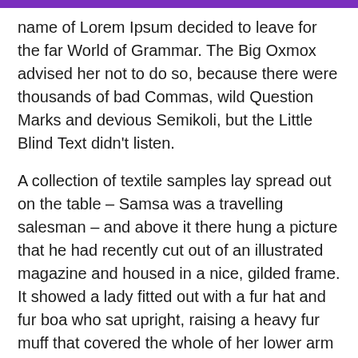name of Lorem Ipsum decided to leave for the far World of Grammar. The Big Oxmox advised her not to do so, because there were thousands of bad Commas, wild Question Marks and devious Semikoli, but the Little Blind Text didn't listen.
A collection of textile samples lay spread out on the table – Samsa was a travelling salesman – and above it there hung a picture that he had recently cut out of an illustrated magazine and housed in a nice, gilded frame. It showed a lady fitted out with a fur hat and fur boa who sat upright, raising a heavy fur muff that covered the whole of her lower arm towards the viewer.
Website schema using JSON LD which is